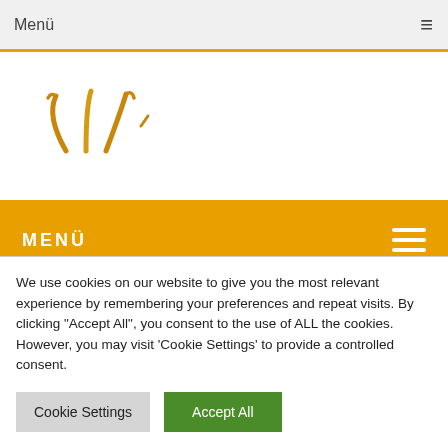Menü
[Figure (logo): Partial logo with stylized orange/yellow grass or wheat symbol]
MENÜ
Wolfgang Schulze
We use cookies on our website to give you the most relevant experience by remembering your preferences and repeat visits. By clicking "Accept All", you consent to the use of ALL the cookies. However, you may visit 'Cookie Settings' to provide a controlled consent.